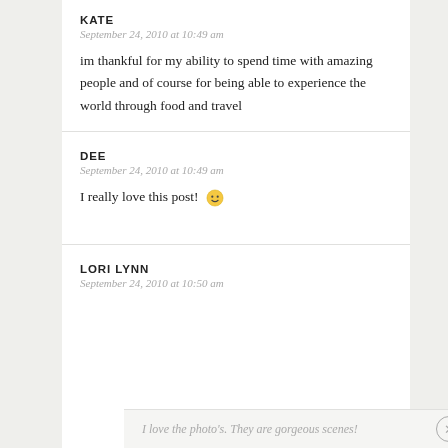KATE
September 24, 2010 at 10:49 am
im thankful for my ability to spend time with amazing people and of course for being able to experience the world through food and travel
DEE
September 24, 2010 at 10:49 am
I really love this post! 🙂
LORI LYNN
September 24, 2010 at 10:50 am
I love the photo's. They are gorgeous scenes!